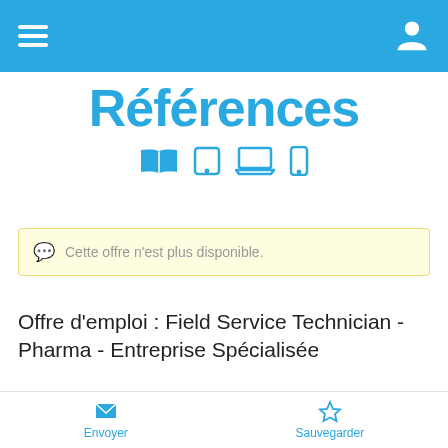[Figure (screenshot): Blue top navigation bar with hamburger menu icon on left and user profile icon on right]
Références
[Figure (illustration): Row of device icons: open book, tablet, laptop, smartphone in blue]
Cette offre n'est plus disponible.
Offre d'emploi : Field Service Technician - Pharma - Entreprise Spécialisée
Envoyer   Sauvegarder